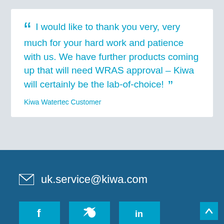“ I would like to thank you very, very much for your hard work and patience with us. We have further products coming up that will need WRAS approval – Kiwa will certainly be the lab-of-choice! ”
Kiwa Watertec Customer
uk.service@kiwa.com
[Figure (other): Three teal social media icon buttons partially visible at bottom of page (Facebook, Twitter, LinkedIn)]